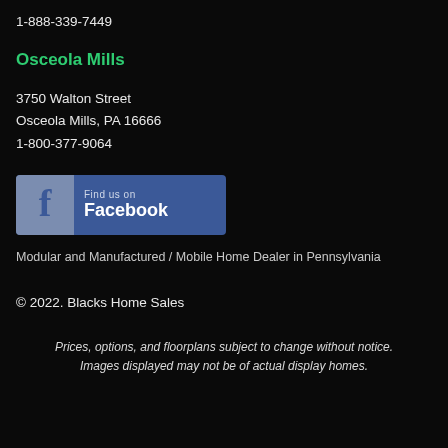1-888-339-7449
Osceola Mills
3750 Walton Street
Osceola Mills, PA 16666
1-800-377-9064
[Figure (logo): Find us on Facebook button with Facebook logo icon]
Modular and Manufactured / Mobile Home Dealer in Pennsylvania
© 2022. Blacks Home Sales
Prices, options, and floorplans subject to change without notice. Images displayed may not be of actual display homes.